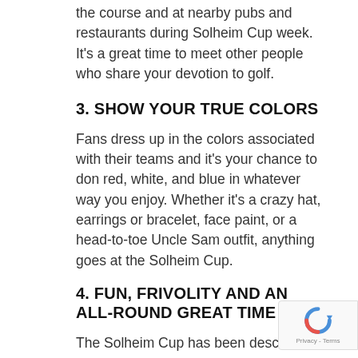the course and at nearby pubs and restaurants during Solheim Cup week. It's a great time to meet other people who share your devotion to golf.
3. SHOW YOUR TRUE COLORS
Fans dress up in the colors associated with their teams and it's your chance to don red, white, and blue in whatever way you enjoy. Whether it's a crazy hat, earrings or bracelet, face paint, or a head-to-toe Uncle Sam outfit, anything goes at the Solheim Cup.
4. FUN, FRIVOLITY AND AN ALL-ROUND GREAT TIME
The Solheim Cup has been described as the women's version of the Ryder Cup. It's similar, yes, but there's also a unique and different...